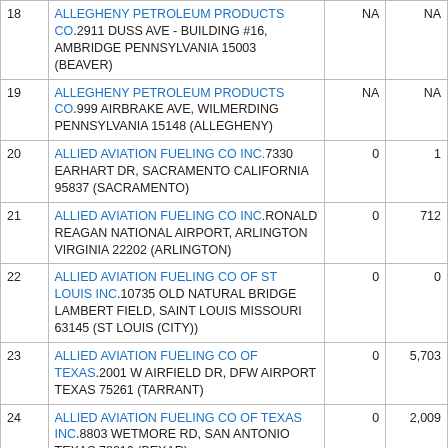| # | Name/Address | Col3 | Col4 |
| --- | --- | --- | --- |
| 18 | ALLEGHENY PETROLEUM PRODUCTS CO.2911 DUSS AVE - BUILDING #16, AMBRIDGE PENNSYLVANIA 15003 (BEAVER) | NA | NA |
| 19 | ALLEGHENY PETROLEUM PRODUCTS CO.999 AIRBRAKE AVE, WILMERDING PENNSYLVANIA 15148 (ALLEGHENY) | NA | NA |
| 20 | ALLIED AVIATION FUELING CO INC.7330 EARHART DR, SACRAMENTO CALIFORNIA 95837 (SACRAMENTO) | 0 | 1 |
| 21 | ALLIED AVIATION FUELING CO INC.RONALD REAGAN NATIONAL AIRPORT, ARLINGTON VIRGINIA 22202 (ARLINGTON) | 0 | 712 |
| 22 | ALLIED AVIATION FUELING CO OF ST LOUIS INC.10735 OLD NATURAL BRIDGE LAMBERT FIELD, SAINT LOUIS MISSOURI 63145 (ST LOUIS (CITY)) | 0 | 0 |
| 23 | ALLIED AVIATION FUELING CO OF TEXAS.2001 W AIRFIELD DR, DFW AIRPORT TEXAS 75261 (TARRANT) | 0 | 5,703 |
| 24 | ALLIED AVIATION FUELING CO OF TEXAS INC.8803 WETMORE RD, SAN ANTONIO TEXAS 78216 (BEXAR) | 0 | 2,009 |